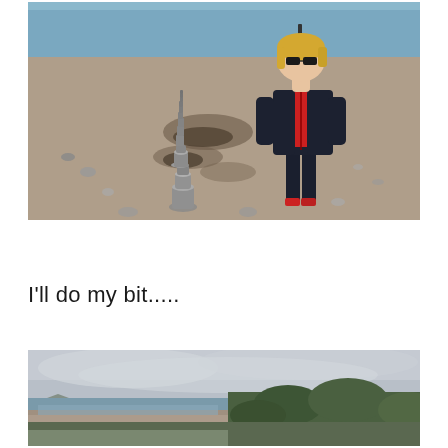[Figure (photo): Woman in black puffer jacket and red hoodie standing on a pebbly beach with stacked stone cairns leading away from her toward the water. Blue sky and sea in the background.]
I'll do my bit.....
[Figure (photo): Coastal landscape scene with a pebble beach, calm inlet water, green hillside bushes, and overcast cloudy sky with hills/mountains in the distance.]